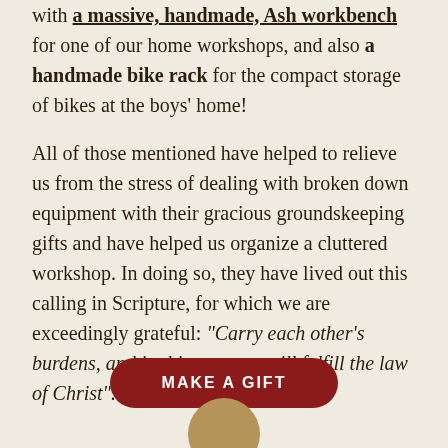with a massive, handmade, Ash workbench for one of our home workshops, and also a handmade bike rack for the compact storage of bikes at the boys' home!

All of those mentioned have helped to relieve us from the stress of dealing with broken down equipment with their gracious groundskeeping gifts and have helped us organize a cluttered workshop. In doing so, they have lived out this calling in Scripture, for which we are exceedingly grateful: "Carry each other's burdens, and in this way you will fulfill the law of Christ". (Gal 6:2)
MAKE A GIFT